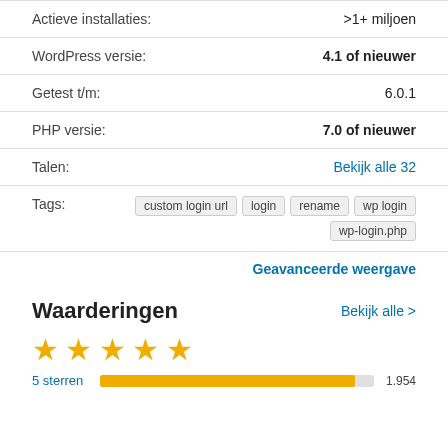| Actieve installaties: | >1+ miljoen |
| WordPress versie: | 4.1 of nieuwer |
| Getest t/m: | 6.0.1 |
| PHP versie: | 7.0 of nieuwer |
| Talen: | Bekijk alle 32 |
| Tags: | custom login url  login  rename  wp login  wp-login.php |
Geavanceerde weergave
Waarderingen
Bekijk alle >
[Figure (other): Five gold stars rating]
5 sterren   1.954